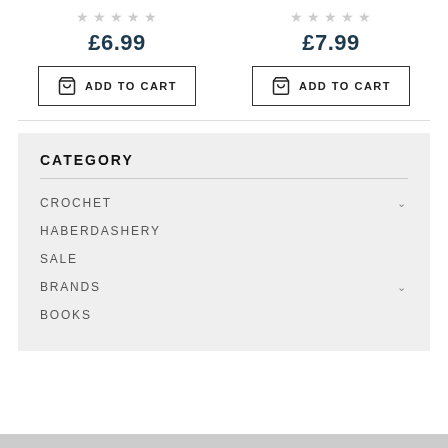£6.99
£7.99
ADD TO CART
ADD TO CART
CATEGORY
CROCHET
HABERDASHERY
SALE
BRANDS
BOOKS